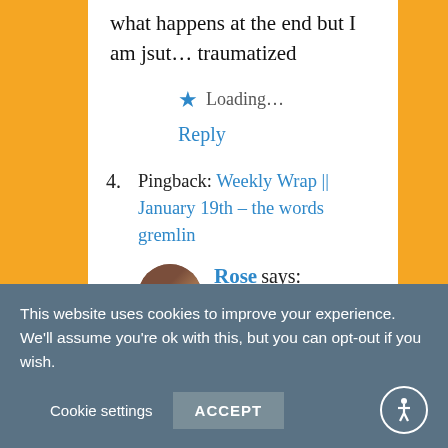what happens at the end but I am jsut… traumatized
★ Loading…
Reply
4. Pingback: Weekly Wrap || January 19th – the words gremlin
5. Rose says: January 20, 2019 at 3:10 pm
This website uses cookies to improve your experience. We'll assume you're ok with this, but you can opt-out if you wish. Cookie settings ACCEPT